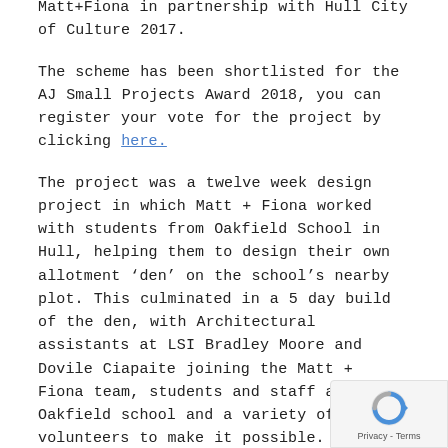Matt+Fiona in partnership with Hull City of Culture 2017.
The scheme has been shortlisted for the AJ Small Projects Award 2018, you can register your vote for the project by clicking here.
The project was a twelve week design project in which Matt + Fiona worked with students from Oakfield School in Hull, helping them to design their own allotment ‘den’ on the school’s nearby plot. This culminated in a 5 day build of the den, with Architectural assistants at LSI Bradley Moore and Dovile Ciapaite joining the Matt + Fiona team, students and staff at Oakfield school and a variety of other volunteers to make it possible.
[Figure (other): reCAPTCHA privacy badge in bottom-right corner with Google reCAPTCHA logo and Privacy - Terms text]